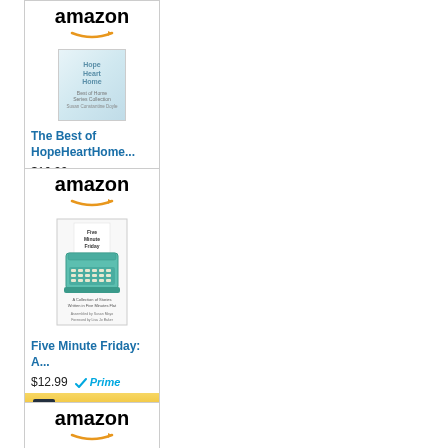[Figure (other): Amazon ad card for 'The Best of HopeHeartHome...' book, priced at $16.99 with Prime, with Shop now button]
[Figure (other): Amazon ad card for 'Five Minute Friday: A...' book, priced at $12.99 with Prime, with Shop now button]
[Figure (other): Amazon ad card (partial, bottom), showing amazon logo]